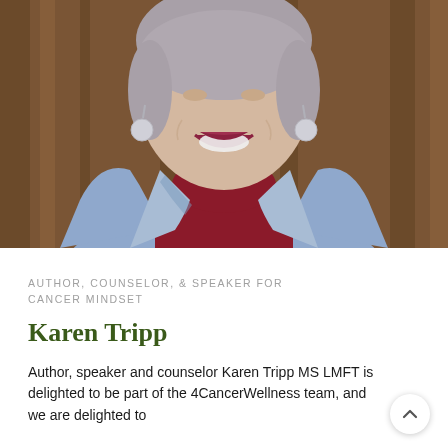[Figure (photo): Portrait photo of Karen Tripp, a woman with short gray hair, wearing round drop earrings, a dark red turtleneck, and a light blue denim jacket, smiling, photographed against a wooden background.]
AUTHOR, COUNSELOR, & SPEAKER FOR CANCER MINDSET
Karen Tripp
Author, speaker and counselor Karen Tripp MS LMFT is delighted to be part of the 4CancerWellness team, and we are delighted to